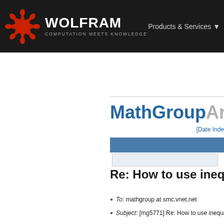WOLFRAM — COMPUTATION MEETS KNOWLEDGE | Products & Services
MathGroupArchives
[Date Index]
Re: How to use inequ...
To: mathgroup at smc.vnet.net
Subject: [mg5771] Re: How to use inequali...
From: Daniel Lichtblau <danl>